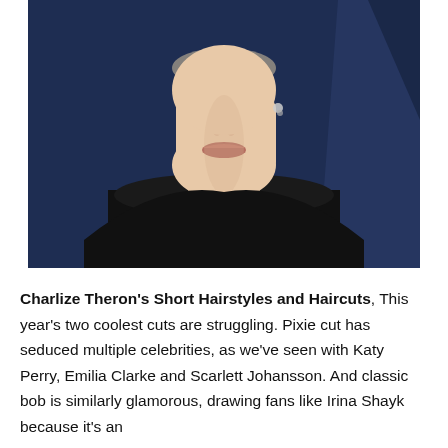[Figure (photo): Close-up portrait photograph of a woman with short blonde hair, wearing a black draped top and small crystal earrings, photographed against a dark blue background.]
Charlize Theron's Short Hairstyles and Haircuts, This year's two coolest cuts are struggling. Pixie cut has seduced multiple celebrities, as we've seen with Katy Perry, Emilia Clarke and Scarlett Johansson. And classic bob is similarly glamorous, drawing fans like Irina Shayk because it's an